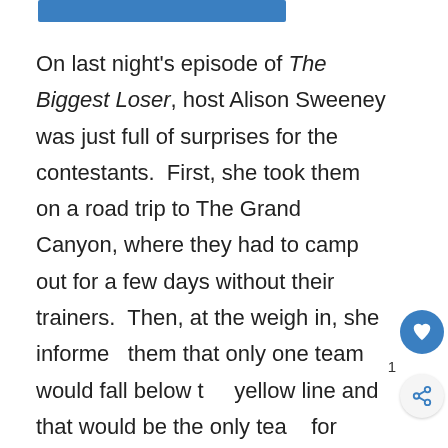[Figure (other): Blue image/banner bar at top of page]
On last night's episode of The Biggest Loser, host Alison Sweeney was just full of surprises for the contestants.  First, she took them on a road trip to The Grand Canyon, where they had to camp out for a few days without their trainers.  Then, at the weigh in, she informed them that only one team would fall below the yellow line and that would be the only team for elimination.  Whoever had the lowest percentage of weight loss would have to